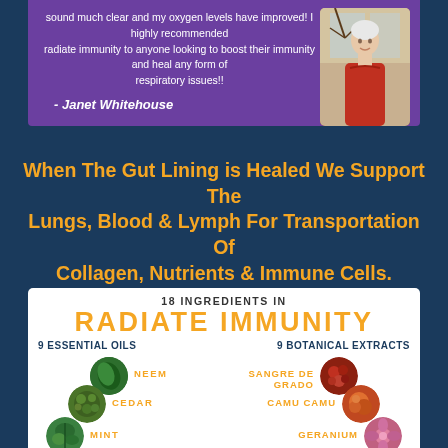sound much clear and my oxygen levels have improved! I highly recommended radiate immunity to anyone looking to boost their immunity and heal any form of respiratory issues!!
- Janet Whitehouse
[Figure (photo): Elderly woman in red sweater standing outdoors near a tree]
When The Gut Lining is Healed We Support The Lungs, Blood & Lymph For Transportation Of Collagen, Nutrients & Immune Cells.
[Figure (infographic): 18 Ingredients in Radiate Immunity: 9 Essential Oils (Neem, Cedar, Mint) and 9 Botanical Extracts (Sangre De Grado, Camu Camu, Geranium) shown with circular herb/plant images arranged diagonally on each side]